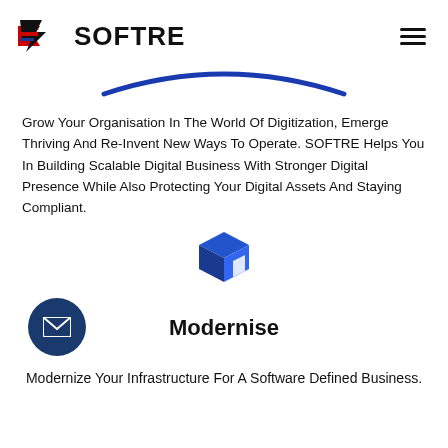SOFTRE
[Figure (illustration): Blue arc/smile shape decorative divider]
Grow Your Organisation In The World Of Digitization, Emerge Thriving And Re-Invent New Ways To Operate. SOFTRE Helps You In Building Scalable Digital Business With Stronger Digital Presence While Also Protecting Your Digital Assets And Staying Compliant.
[Figure (illustration): Blue 3D box/cube icon]
[Figure (illustration): Dark blue circle with white envelope/email icon]
Modernise
Modernize Your Infrastructure For A Software Defined Business.